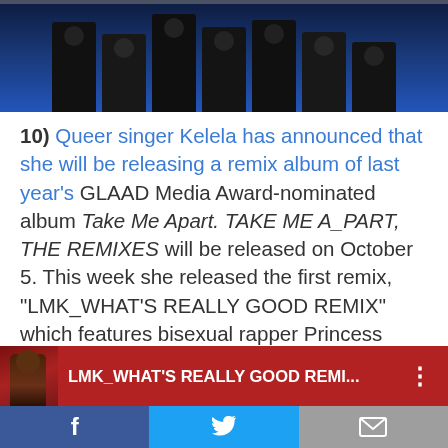[Figure (photo): Group of people in formal attire standing on a stage with blue lighting in the background]
10) Queer singer Kelela has announced that she will be releasing a remix album of last year's GLAAD Media Award-nominated album Take Me Apart. TAKE ME A_PART, THE REMIXES will be released on October 5. This week she released the first remix, "LMK_WHAT'S REALLY GOOD REMIX" which features bisexual rapper Princess Nokia and trans rapper Ms. Boogie. Listen to "LMK_WHAT'S REALLY GOOD REMIX" below, and catch the album on October 5.
[Figure (screenshot): Music player showing LMK_WHAT'S REALLY GOOD REMI... with a thumbnail of a person]
[Figure (screenshot): Social media sharing bar with Facebook, Twitter, and email icons]